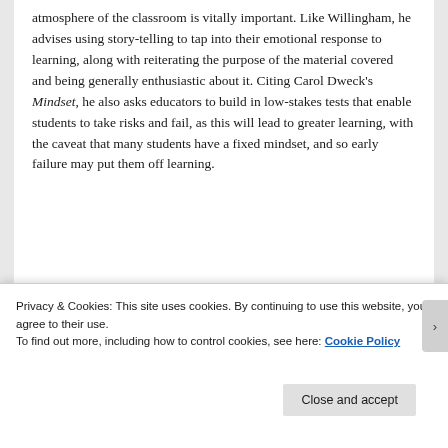atmosphere of the classroom is vitally important. Like Willingham, he advises using story-telling to tap into their emotional response to learning, along with reiterating the purpose of the material covered and being generally enthusiastic about it. Citing Carol Dweck's Mindset, he also asks educators to build in low-stakes tests that enable students to take risks and fail, as this will lead to greater learning, with the caveat that many students have a fixed mindset, and so early failure may put them off learning.
All in all, a fantastic and helpful survey of some key
Privacy & Cookies: This site uses cookies. By continuing to use this website, you agree to their use.
To find out more, including how to control cookies, see here: Cookie Policy